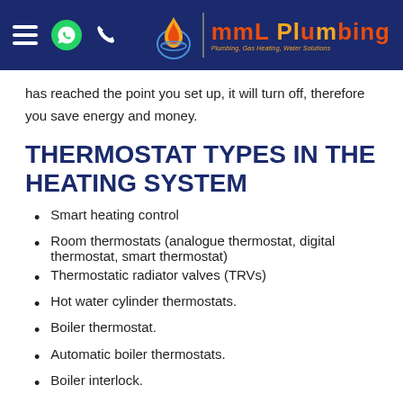MML Plumbing — Plumbing, Gas Heating, Water Solutions
has reached the point you set up, it will turn off, therefore you save energy and money.
THERMOSTAT TYPES IN THE HEATING SYSTEM
Smart heating control
Room thermostats (analogue thermostat, digital thermostat, smart thermostat)
Thermostatic radiator valves (TRVs)
Hot water cylinder thermostats.
Boiler thermostat.
Automatic boiler thermostats.
Boiler interlock.